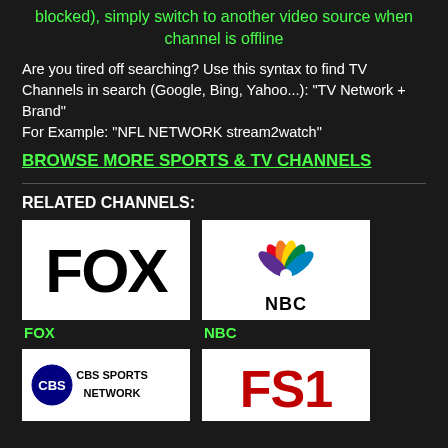blocked), simply switch to another video source when channel is offline
Are you tired off searching? Use this syntax to find TV Channels in search (Google, Bing, Yahoo...): "TV Network + Brand"
For Example: "NFL NETWORK stream2watch"
BROWSE MORE SPORTS & TV CHANNELS
RELATED CHANNELS:
[Figure (logo): FOX network logo - black text on white background]
FOX
[Figure (logo): NBC peacock logo with colorful feathers and NBC text on white background]
NBC
[Figure (logo): CBS Sports Network logo partially visible]
[Figure (logo): FS1 logo partially visible]